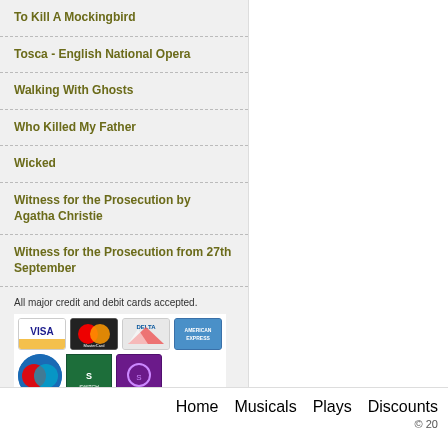To Kill A Mockingbird
Tosca - English National Opera
Walking With Ghosts
Who Killed My Father
Wicked
Witness for the Prosecution by Agatha Christie
Witness for the Prosecution from 27th September
All major credit and debit cards accepted.
[Figure (other): Payment card logos: Visa, MasterCard, Delta, American Express, Maestro, Switch, Solo]
Home   Musicals   Plays   Discounts   © 20